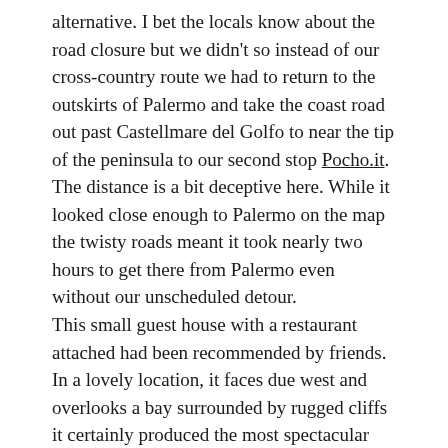alternative. I bet the locals know about the road closure but we didn't so instead of our cross-country route we had to return to the outskirts of Palermo and take the coast road out past Castellmare del Golfo to near the tip of the peninsula to our second stop Pocho.it. The distance is a bit deceptive here. While it looked close enough to Palermo on the map the twisty roads meant it took nearly two hours to get there from Palermo even without our unscheduled detour.
This small guest house with a restaurant attached had been recommended by friends. In a lovely location, it faces due west and overlooks a bay surrounded by rugged cliffs it certainly produced the most spectacular sunset of the trip and the most memorable meals so far.
The “menu fisso” changes daily and is all based on seafood. The second night’s meal went something like this: